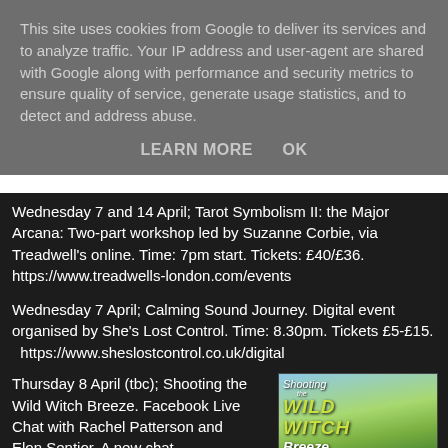This site uses cookies from Google to deliver its services and to analyze traffic. Your IP address and user-agent are shared with Google along with performance and security metrics to ensure quality of service, generate usage statistics, and to detect and address abuse.
LEARN MORE    OK
Wednesday 7 and 14 April; Tarot Symbolism II: the Major Arcana: Two-part workshop led by Suzanne Corbie, via Treadwell's online. Time: 7pm start. Tickets: £40/£36. https://www.treadwells-london.com/events
Wednesday 7 April; Calming Sound Journey. Digital event organised by She's Lost Control. Time: 8.30pm. Tickets £5-£15.  https://www.sheslostcontrol.co.uk/digital
Thursday 8 April (tbc); Shooting the Wild Witch Breeze. Facebook Live Chat with Rachel Patterson and Elon Sentior. A new chat
[Figure (photo): Promotional image for 'Shooting the Wild Witch Breeze' show with Rachel Patterson and Elon Sentior every other Thursday at 7pm, showing stylized text over an outdoor landscape background.]